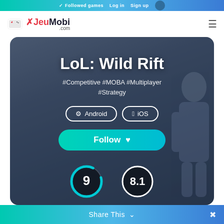Followed games  Log in  Sign up
[Figure (logo): JeuMobi.com logo with game controller icon, red and black text]
LoL: Wild Rift
#Competitive #MOBA #Multiplayer #Strategy
Android  iOS
Follow ♥
[Figure (infographic): Two score circles: blue arc circle showing '9' and white circle showing '8.1']
Share This  ∨